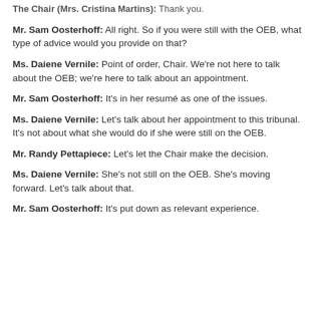The Chair (Mrs. Cristina Martins): Thank you.
Mr. Sam Oosterhoff: All right. So if you were still with the OEB, what type of advice would you provide on that?
Ms. Daiene Vernile: Point of order, Chair. We're not here to talk about the OEB; we're here to talk about an appointment.
Mr. Sam Oosterhoff: It's in her resumé as one of the issues.
Ms. Daiene Vernile: Let's talk about her appointment to this tribunal. It's not about what she would do if she were still on the OEB.
Mr. Randy Pettapiece: Let's let the Chair make the decision.
Ms. Daiene Vernile: She's not still on the OEB. She's moving forward. Let's talk about that.
Mr. Sam Oosterhoff: It's put down as relevant experience.